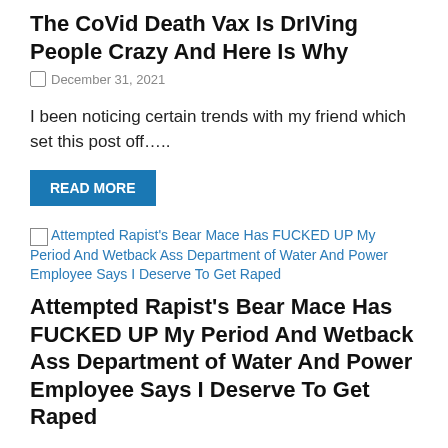The CoVid Death Vax Is DrIVing People Crazy And Here Is Why
December 31, 2021
I been noticing certain trends with my friend which set this post off…..
READ MORE
[Figure (other): Broken image placeholder with link text for second article]
Attempted Rapist's Bear Mace Has FUCKED UP My Period And Wetback Ass Department of Water And Power Employee Says I Deserve To Get Raped